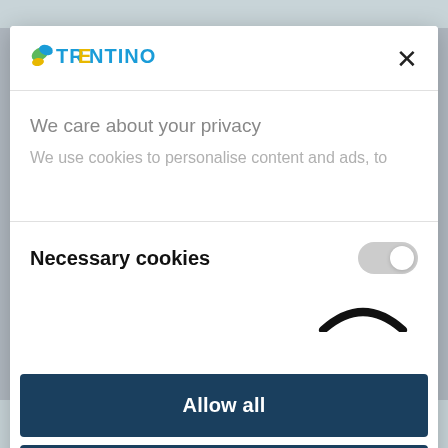[Figure (logo): Trentino logo with butterfly icon and colorful text]
We care about your privacy
We use cookies to personalise content and ads, to
Necessary cookies
Allow all
Allow selection
Powered by Cookiebot by Usercentrics